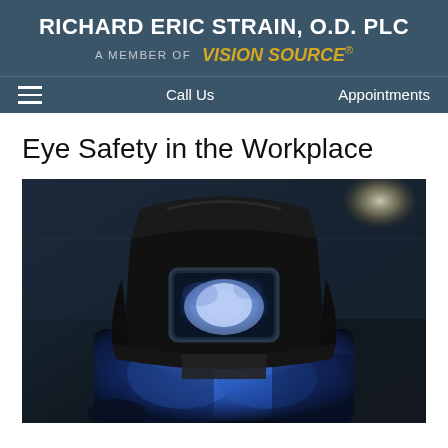RICHARD ERIC STRAIN, O.D. PLC — A MEMBER OF Vision Source
Call Us   Appointments
Eye Safety in the Workplace
[Figure (photo): A welder wearing a full welding helmet with a bright blue welding arc light visible through the visor, wearing a blue work shirt, working in an industrial setting]